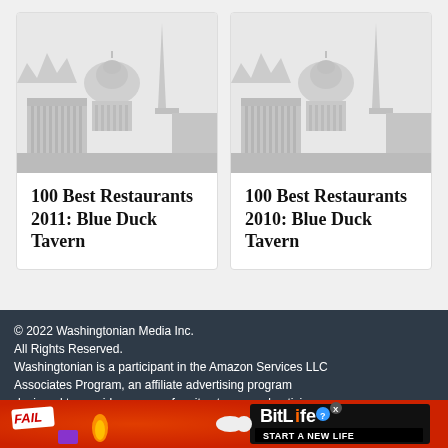[Figure (illustration): DC skyline illustration with Capitol dome, Washington Monument, and other buildings in light gray]
100 Best Restaurants 2011: Blue Duck Tavern
[Figure (illustration): DC skyline illustration with Capitol dome, Washington Monument, and other buildings in light gray]
100 Best Restaurants 2010: Blue Duck Tavern
© 2022 Washingtonian Media Inc. All Rights Reserved. Washingtonian is a participant in the Amazon Services LLC Associates Program, an affiliate advertising program designed to provide a means for sites to earn advertising
[Figure (illustration): BitLife advertisement with FAIL text, animated character, and START A NEW LIFE tagline]